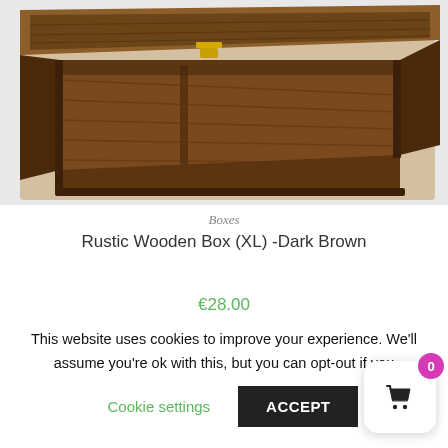[Figure (photo): An open rustic dark brown wooden box (XL) viewed from above at an angle, showing the interior wood grain and a brass hinge. White background.]
Boxes
Rustic Wooden Box (XL) -Dark Brown
€28.00
This website uses cookies to improve your experience. We'll assume you're ok with this, but you can opt-out if you
Cookie settings
ACCEPT